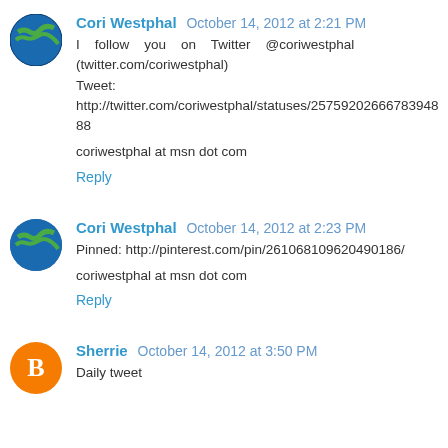Cori Westphal October 14, 2012 at 2:21 PM
I follow you on Twitter @coriwestphal (twitter.com/coriwestphal)
Tweet: http://twitter.com/coriwestphal/statuses/25759202666783948
88

coriwestphal at msn dot com
Reply
Cori Westphal October 14, 2012 at 2:23 PM
Pinned: http://pinterest.com/pin/261068109620490186/

coriwestphal at msn dot com
Reply
Sherrie October 14, 2012 at 3:50 PM
Daily tweet